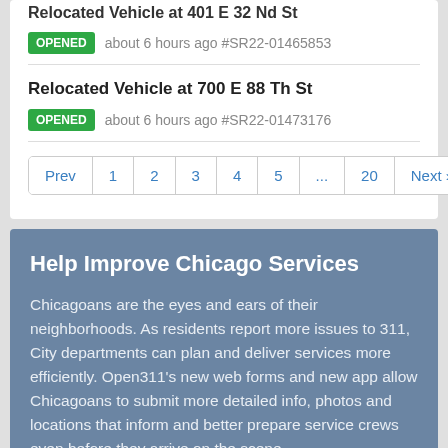Relocated Vehicle at 700 E 88 Th St
OPENED   about 6 hours ago #SR22-01473176
Prev 1 2 3 4 5 ... 20 Next ›
Help Improve Chicago Services
Chicagoans are the eyes and ears of their neighborhoods. As residents report more issues to 311, City departments can plan and deliver services more efficiently. Open311's new web forms and new app allow Chicagoans to submit more detailed info, photos and locations that inform and better prepare service crews even before they arrive on the scene.